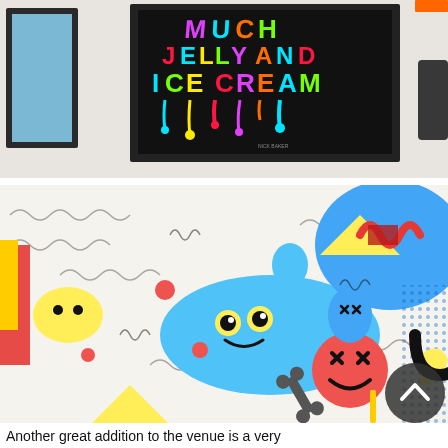[Figure (photo): Framed artwork on white gallery wall showing colorful dripping text reading 'MUCH JELLY AND ICE CREAM' on a dark background. A dark-framed artwork partially visible on the left.]
[Figure (photo): Close-up of a large colorful mural featuring cartoon blob characters, smiley faces with X eyes, bones, geometric shapes in blue, yellow, red, and black on a white background with squiggly lines.]
Another great addition to the venue is a very